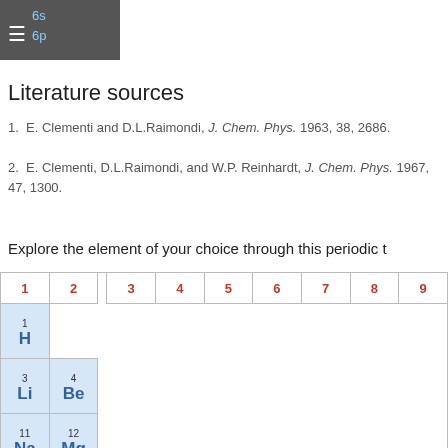6s 6p
Literature sources
1. E. Clementi and D.L.Raimondi, J. Chem. Phys. 1963, 38, 2686.
2. E. Clementi, D.L.Raimondi, and W.P. Reinhardt, J. Chem. Phys. 1967, 47, 1300.
Explore the element of your choice through this periodic t
| 1 | 2 | 3 | 4 | 5 | 6 | 7 | 8 | 9 |
| --- | --- | --- | --- | --- | --- | --- | --- | --- |
| 1
H |  |  |  |  |  |  |  |  |
| 3
Li | 4
Be |  |  |  |  |  |  |  |
| 11
Na | 12
Mg |  |  |  |  |  |  |  |
| 19
K | 20
Ca | 21
Sc | 22
Ti | 23
V | 24
Cr | 25
Mn | 26
Fe | 27
Co |